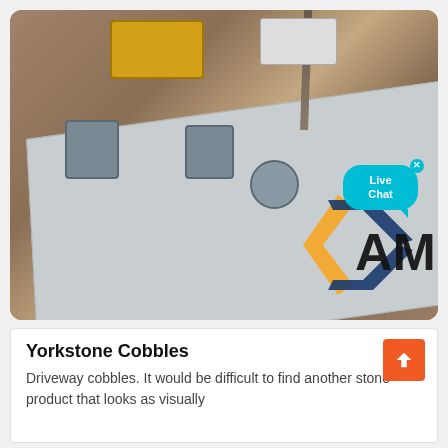[Figure (photo): Aerial view of a construction or mining site showing a large white concrete platform with heavy machinery, a yellow truck, crane equipment, workers in orange vests, and an AM company logo overlay. A 'Live Chat' bubble widget is visible in the upper right area.]
Yorkstone Cobbles
Driveway cobbles. It would be difficult to find another stone product that looks as visually